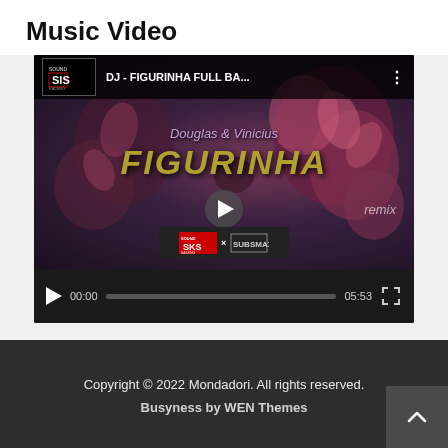Music Video
[Figure (screenshot): Embedded video player showing 'DJ - FIGURINHA FULL BA...' with Sound Kaleng logo. Video thumbnail shows Douglas & Vinicius FIGURINHA remix with floral background. Controls show 00:00 / 05:53.]
Copyright © 2022 Mondadori. All rights reserved.
Busyness by WEN Themes